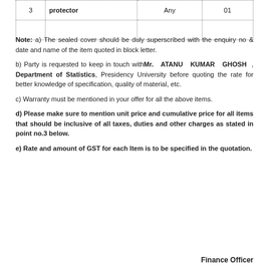|  |  | Any | 01 |
| --- | --- | --- | --- |
| 3 | protector | Any | 01 |
Note: a) The sealed cover should be duly superscribed with the enquiry no & date and name of the item quoted in block letter.
b) Party is requested to keep in touch with Mr. ATANU KUMAR GHOSH , Department of Statistics, Presidency University before quoting the rate for better knowledge of specification, quality of material, etc.
c) Warranty must be mentioned in your offer for all the above items.
d) Please make sure to mention unit price and cumulative price for all items that should be inclusive of all taxes, duties and other charges as stated in point no.3 below.
e) Rate and amount of GST for each Item is to be specified in the quotation.
Finance Officer